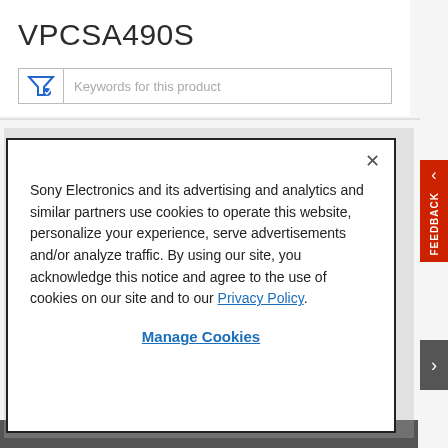VPCSA490S
[Figure (screenshot): Search/filter bar with funnel icon and text: Keywords for this product]
Sony Electronics and its advertising and analytics and similar partners use cookies to operate this website, personalize your experience, serve advertisements and/or analyze traffic. By using our site, you acknowledge this notice and agree to the use of cookies on our site and to our Privacy Policy.
Manage Cookies